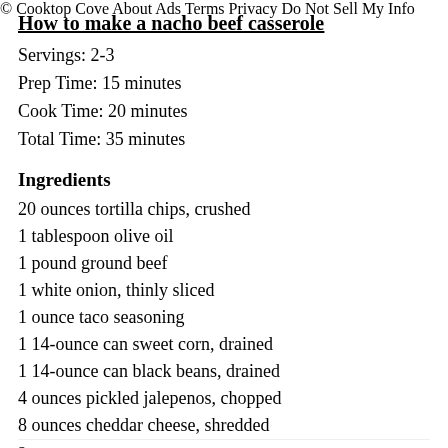How to make a nacho beef casserole
Servings: 2-3
Prep Time: 15 minutes
Cook Time: 20 minutes
Total Time: 35 minutes
Ingredients
20 ounces tortilla chips, crushed
1 tablespoon olive oil
1 pound ground beef
1 white onion, thinly sliced
1 ounce taco seasoning
1 14-ounce can sweet corn, drained
1 14-ounce can black beans, drained
4 ounces pickled jalepenos, chopped
8 ounces cheddar cheese, shredded
2 … (cut off)
© Cooktop Cove   About Ads   Terms   Privacy   Do Not Sell My Info